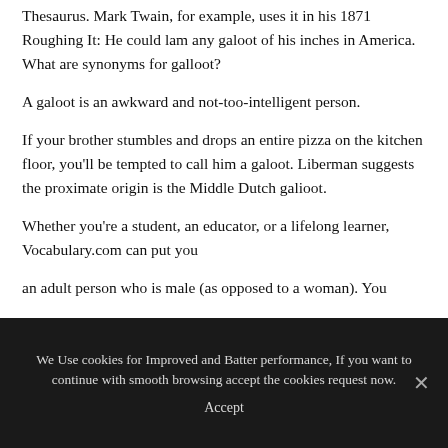Thesaurus. Mark Twain, for example, uses it in his 1871 Roughing It: He could lam any galoot of his inches in America. What are synonyms for galloot?
A galoot is an awkward and not-too-intelligent person.
If your brother stumbles and drops an entire pizza on the kitchen floor, you'll be tempted to call him a galoot. Liberman suggests the proximate origin is the Middle Dutch galioot.
Whether you're a student, an educator, or a lifelong learner, Vocabulary.com can put you
an adult person who is male (as opposed to a woman). You
We Use cookies for Improved and Batter performance, If you want to continue with smooth browsing accept the cookies request now.
Accept